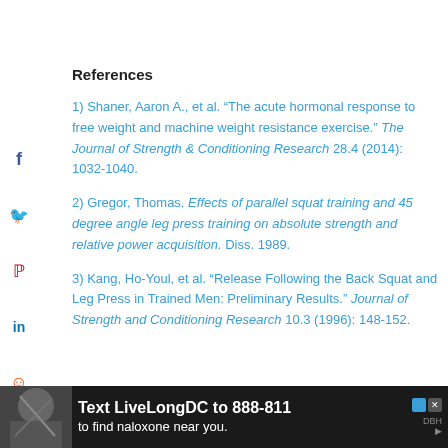References
1) Shaner, Aaron A., et al. “The acute hormonal response to free weight and machine weight resistance exercise.” The Journal of Strength & Conditioning Research 28.4 (2014): 1032-1040.
2) Gregor, Thomas. Effects of parallel squat training and 45 degree angle leg press training on absolute strength and relative power acquisition. Diss. 1989.
3) Kang, Ho-Youl, et al. “Release Following the Back Squat and Leg Press in Trained Men: Preliminary Results.” Journal of Strength and Conditioning Research 10.3 (1996): 148-152.
[Figure (infographic): Advertisement banner: Text LiveLongDC to 888-811 to find naloxone near you. Dark background with photo and logos.]